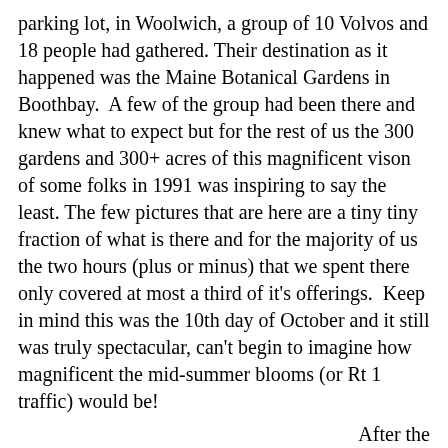parking lot, in Woolwich, a group of 10 Volvos and 18 people had gathered. Their destination as it happened was the Maine Botanical Gardens in Boothbay. A few of the group had been there and knew what to expect but for the rest of us the 300 gardens and 300+ acres of this magnificent vison of some folks in 1991 was inspiring to say the least. The few pictures that are here are a tiny tiny fraction of what is there and for the majority of us the two hours (plus or minus) that we spent there only covered at most a third of it's offerings. Keep in mind this was the 10th day of October and it still was truly spectacular, can't begin to imagine how magnificent the mid-summer blooms (or Rt 1 traffic) would be!
After the tour we dined at Robinson's Wharf in Southport, and were impressed as a darned good sized lobster boat maneuvered along side the wharf and deposited her valuable cargo of first catch to...